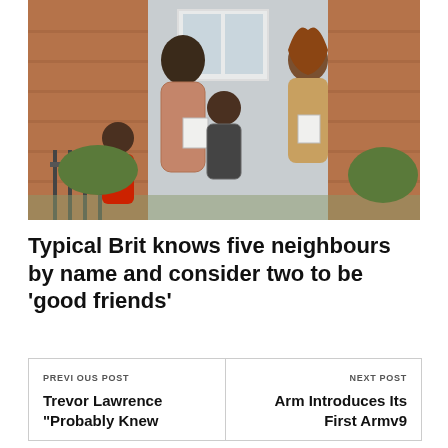[Figure (photo): Outdoor scene showing three people in front of a brick house. A tall woman in a floral dress holds papers, a young boy in a striped hoodie stands in the middle, and a woman with auburn hair in a tan jacket also holds papers. Another child in a red jacket is visible on the left.]
Typical Brit knows five neighbours by name and consider two to be 'good friends'
PREVIOUS POST
Trevor Lawrence "Probably Knew
NEXT POST
Arm Introduces Its First Armv9